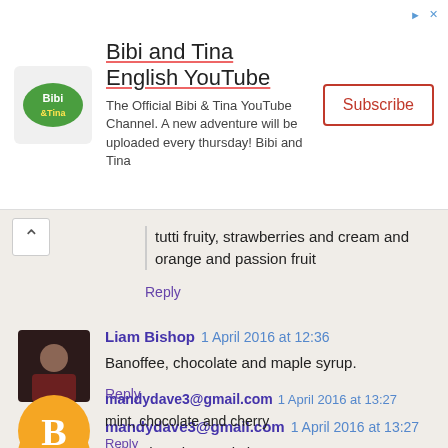[Figure (other): Bibi and Tina English YouTube ad banner with logo, description text, and Subscribe button]
tutti fruity, strawberries and cream and orange and passion fruit
Reply
Liam Bishop 1 April 2016 at 12:36
Banoffee, chocolate and maple syrup.
Reply
mandydave3@gmail.com 1 April 2016 at 13:27
mint, chocolate and cherry
Reply